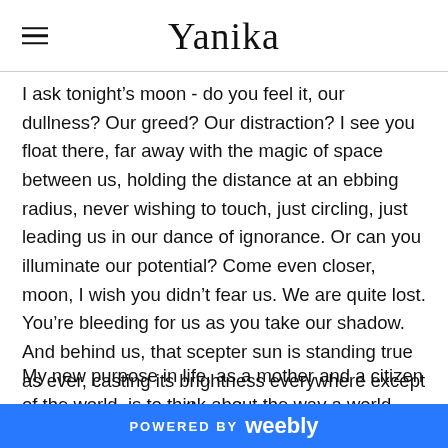Yanika
I ask tonight’s moon - do you feel it, our dullness? Our greed? Our distraction? I see you float there, far away with the magic of space between us, holding the distance at an ebbing radius, never wishing to touch, just circling, just leading us in our dance of ignorance. Or can you illuminate our potential? Come even closer, moon, I wish you didn’t fear us. We are quite lost. You’re bleeding for us as you take our shadow. And behind us, that scepter sun is standing true as ever, casting its brightness everywhere except on you, as we pass through.
My new purpose in life, as a mother and a citizen of the world, is to think about the way a world without poverty...
POWERED BY weebly